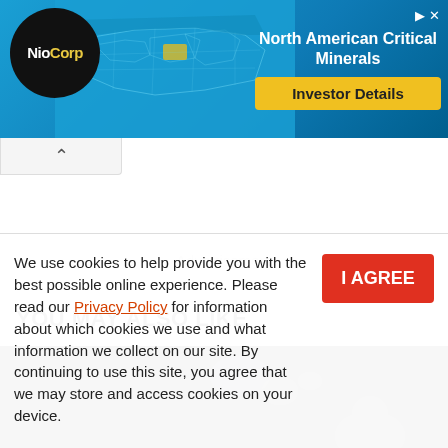[Figure (screenshot): NioCorp advertisement banner with map of North America highlighted in cyan/teal, logo on left, 'North American Critical Minerals' text and 'Investor Details' button on right]
[Figure (screenshot): Dark image strip with blurred bokeh lights, part of a 'You May Also Like' content recommendation section]
YOU MAY ALSO LIKE
We use cookies to help provide you with the best possible online experience. Please read our Privacy Policy for information about which cookies we use and what information we collect on our site. By continuing to use this site, you agree that we may store and access cookies on your device.